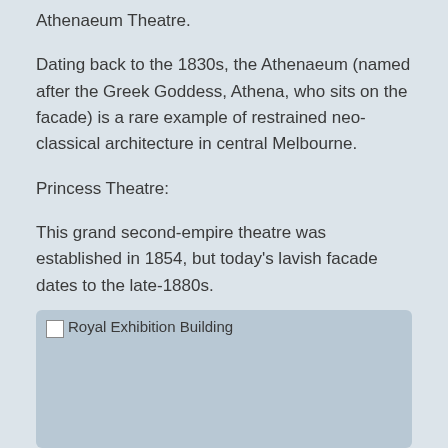Athenaeum Theatre.
Dating back to the 1830s, the Athenaeum (named after the Greek Goddess, Athena, who sits on the facade) is a rare example of restrained neo-classical architecture in central Melbourne.
Princess Theatre:
This grand second-empire theatre was established in 1854, but today's lavish facade dates to the late-1880s.
Royal Exhibition Building:
[Figure (photo): Photo placeholder for Royal Exhibition Building, shown as a grey-blue rectangle with broken image icon and alt text 'Royal Exhibition Building']